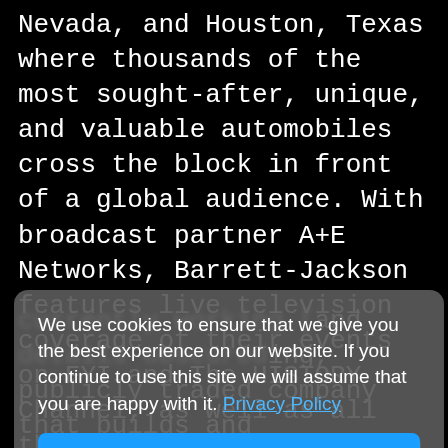Nevada, and Houston, Texas where thousands of the most sought-after, unique, and valuable automobiles cross the block in front of a global audience. With broadcast partner A+E Networks, Barrett-Jackson features live television coverage of their events on FYI and The HISTORY Channel, as well as all the cars, all the time via their produced live stream on Barrett-Jackson.com.
For more information, go to www.barrett-[jackson.com]
[Cookie overlay] We use cookies to ensure that we give you the best experience on our website. If you continue to use this site we will assume that you are happy with it. Privacy Policy. Got it!
[partially obscured] currently working [with] and [details obscured] ing, publicly traded company that builds and